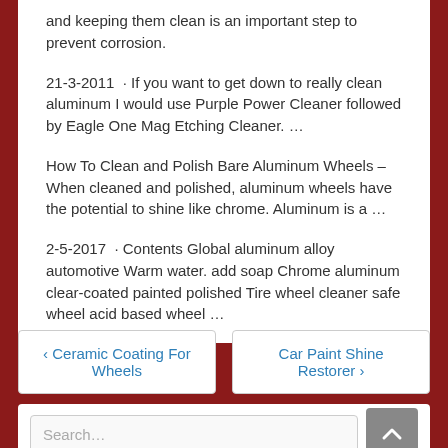and keeping them clean is an important step to prevent corrosion.
21-3-2011 · If you want to get down to really clean aluminum I would use Purple Power Cleaner followed by Eagle One Mag Etching Cleaner. …
How To Clean and Polish Bare Aluminum Wheels – When cleaned and polished, aluminum wheels have the potential to shine like chrome. Aluminum is a …
2-5-2017 · Contents Global aluminum alloy automotive Warm water. add soap Chrome aluminum clear-coated painted polished Tire wheel cleaner safe wheel acid based wheel …
‹ Ceramic Coating For Wheels
Car Paint Shine Restorer ›
Search…